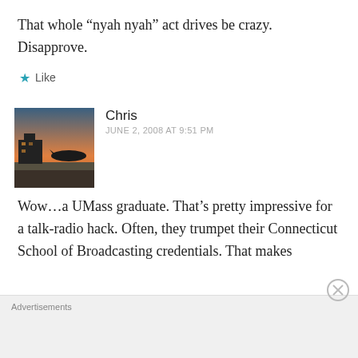That whole “nyah nyah” act drives be crazy. Disapprove.
★ Like
Chris
JUNE 2, 2008 AT 9:51 PM
[Figure (photo): Avatar photo of commenter Chris showing an outdoor scene with an airplane or vehicle and sky at dusk]
Wow…a UMass graduate. That’s pretty impressive for a talk-radio hack. Often, they trumpet their Connecticut School of Broadcasting credentials. That makes
Advertisements